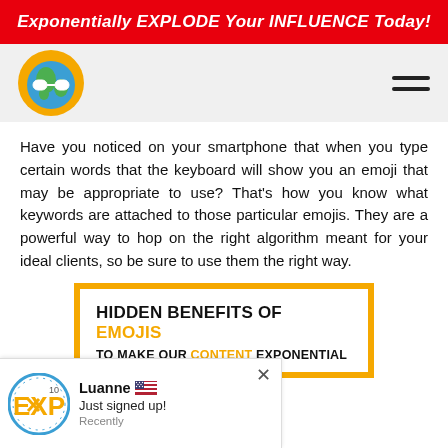Exponentially EXPLODE Your INFLUENCE Today!
[Figure (logo): Globe with glasses logo and hamburger menu icon in light grey navigation bar]
Have you noticed on your smartphone that when you type certain words that the keyboard will show you an emoji that may be appropriate to use? That's how you know what keywords are attached to those particular emojis. They are a powerful way to hop on the right algorithm meant for your ideal clients, so be sure to use them the right way.
[Figure (infographic): Orange-bordered box with title: HIDDEN BENEFITS OF EMOJIS TO MAKE OUR CONTENT EXPONENTIAL]
[Figure (infographic): Notification popup: EXP logo, Luanne (US flag) Just signed up! Recently]